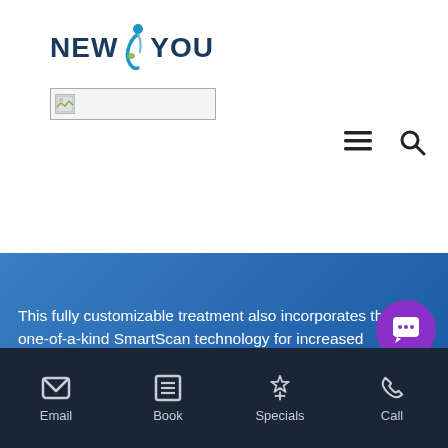[Figure (logo): New You logo with stylized human figure in blue between NEW and YOU text]
[Figure (screenshot): Broken image placeholder box with small icon]
[Figure (other): Hamburger menu icon and search/magnifier icon in top right]
This fully customizable treatment also incorporates the one-of-a-kind SmartScan technology for increased precision and enhanced efficacy.
Email   Book   Specials   Call